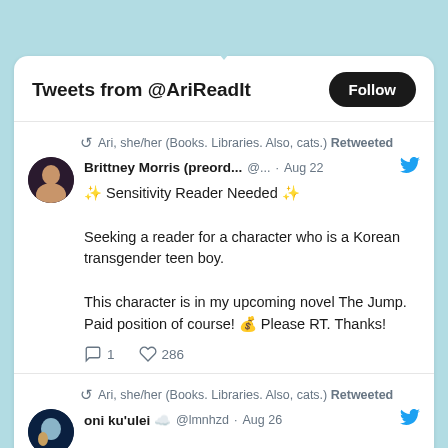[Figure (screenshot): Twitter/social media widget showing tweets from @AriReadIt with a Follow button and two retweeted posts]
Tweets from @AriReadIt
Ari, she/her (Books. Libraries. Also, cats.) Retweeted
Brittney Morris (preord... @... · Aug 22
✨ Sensitivity Reader Needed ✨

Seeking a reader for a character who is a Korean transgender teen boy.

This character is in my upcoming novel The Jump. Paid position of course! 💰 Please RT. Thanks!
1 reply, 286 likes
Ari, she/her (Books. Libraries. Also, cats.) Retweeted
oni ku'ulei ☁️ @lmnhzd · Aug 26